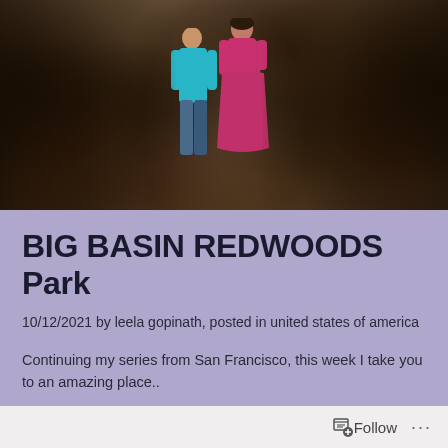[Figure (photo): Two people standing in front of a large fallen redwood tree with exposed roots and bark. One person wears a teal/cyan long-sleeve shirt and jeans, the other wears a pink/magenta long dress.]
BIG BASIN REDWOODS Park
10/12/2021 by leela gopinath, posted in united states of america
Continuing my series from San Francisco, this week I take you to an amazing place..
The Big Basin Redwoods
Brief history and overview